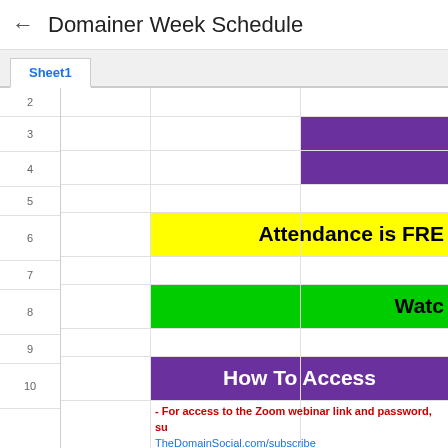← Domainer Week Schedule
Sheet1
[Figure (screenshot): Google Sheets spreadsheet showing Domainer Week Schedule with colored rows: purple merged cells in rows 3-4, yellow row 6 with 'Attendance is FREE', green row 8 with 'Watc...', purple row 10 with 'How To Access', and row 11 with access instructions including Zoom webinar link, ClubHouse streaming, and YouTube link.]
- For access to the Zoom webinar link and password, su... TheDomainSocial.com/subscribe - All sessions will be accessible to the first 500 people via a Z... - Sessions will be streamed to ClubHouse (Listen Only) Search Arif Mirza, TheDomainSocial or DomainPodcast o... - Sessions will be streamed to YouTube https://www.youtube.com/c/DomainPodcas...